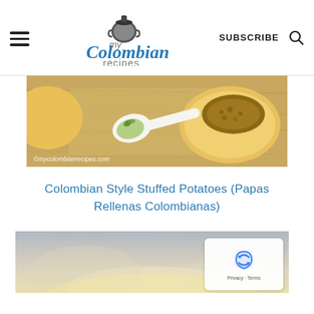my Colombian recipes — SUBSCRIBE
[Figure (photo): Stuffed potatoes (papas rellenas) on a wooden board with a spoon and green sauce, with copyright watermark ©mycolombianrecipes.com]
Colombian Style Stuffed Potatoes (Papas Rellenas Colombianas)
[Figure (photo): Second food photo partially visible, blurred/soft focus background]